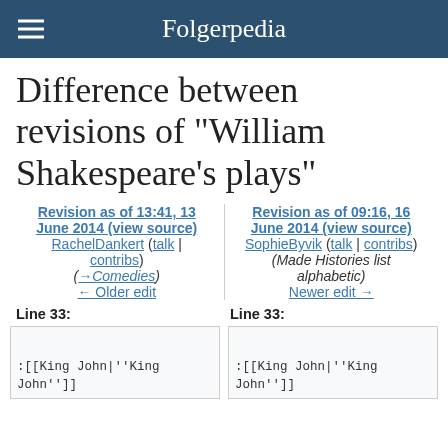Folgerpedia
Difference between revisions of "William Shakespeare's plays"
Revision as of 13:41, 13 June 2014 (view source) RachelDankert (talk | contribs) (→Comedies) ← Older edit
Revision as of 09:16, 16 June 2014 (view source) SophieByvik (talk | contribs) (Made Histories list alphabetic) Newer edit →
Line 33:
Line 33:
:[[King John|''King John'']]
:[[King John|''King John'']]